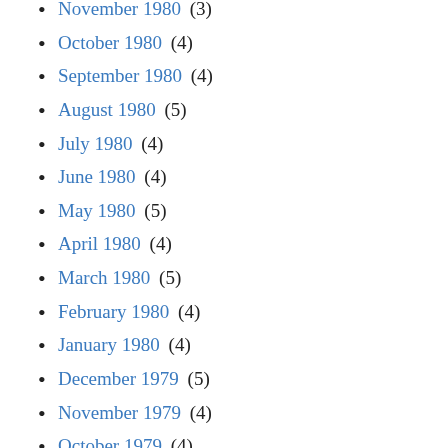November 1980 (3)
October 1980 (4)
September 1980 (4)
August 1980 (5)
July 1980 (4)
June 1980 (4)
May 1980 (5)
April 1980 (4)
March 1980 (5)
February 1980 (4)
January 1980 (4)
December 1979 (5)
November 1979 (4)
October 1979 (4)
September 1979 (5)
August 1979 (4)
July 1979 (4)